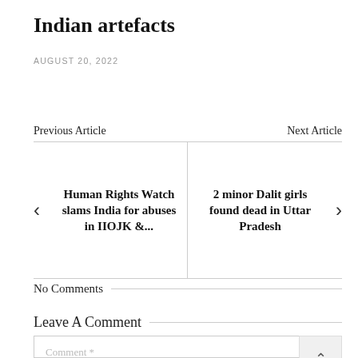Indian artefacts
AUGUST 20, 2022
Previous Article
Next Article
Human Rights Watch slams India for abuses in IIOJK &...
2 minor Dalit girls found dead in Uttar Pradesh
No Comments
Leave A Comment
Comment *